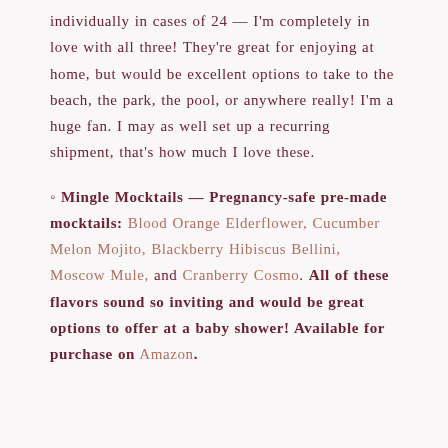individually in cases of 24 — I'm completely in love with all three! They're great for enjoying at home, but would be excellent options to take to the beach, the park, the pool, or anywhere really! I'm a huge fan. I may as well set up a recurring shipment, that's how much I love these.
◦ Mingle Mocktails — Pregnancy-safe pre-made mocktails: Blood Orange Elderflower, Cucumber Melon Mojito, Blackberry Hibiscus Bellini, Moscow Mule, and Cranberry Cosmo. All of these flavors sound so inviting and would be great options to offer at a baby shower! Available for purchase on Amazon.